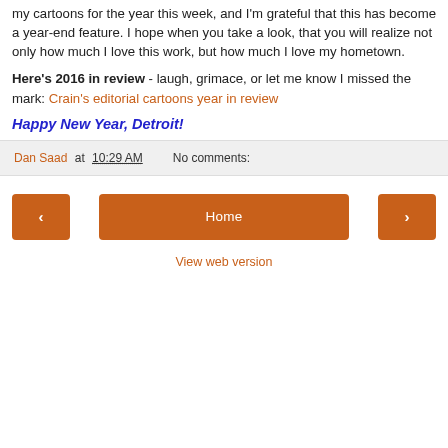my cartoons for the year this week, and I'm grateful that this has become a year-end feature. I hope when you take a look, that you will realize not only how much I love this work, but how much I love my hometown.
Here's 2016 in review - laugh, grimace, or let me know I missed the mark: Crain's editorial cartoons year in review
Happy New Year, Detroit!
Dan Saad at 10:29 AM   No comments:
< Home > View web version